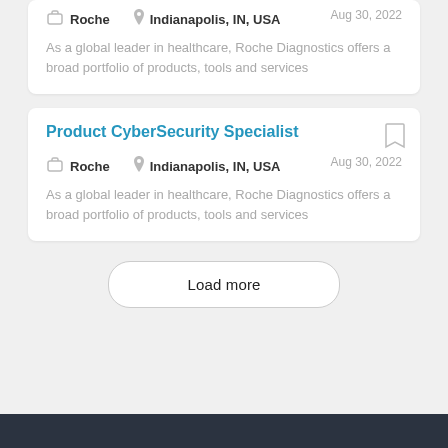Roche | Indianapolis, IN, USA | Aug 30, 2022
As a global leader in healthcare, Roche Diagnostics offers a broad portfolio of products, tools and services
Product CyberSecurity Specialist
Roche | Indianapolis, IN, USA | Aug 30, 2022
As a global leader in healthcare, Roche Diagnostics offers a broad portfolio of products, tools and services
Load more